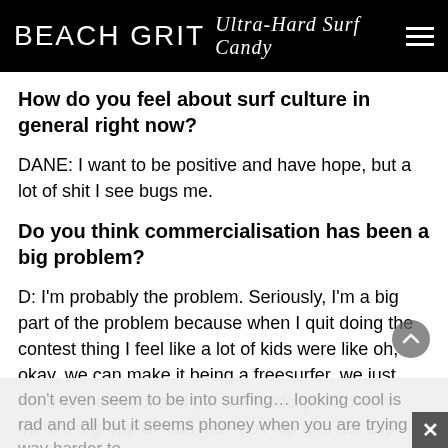BEACH GRIT Ultra-Hard Surf Candy
How do you feel about surf culture in general right now?
DANE: I want to be positive and have hope, but a lot of shit I see bugs me.
Do you think commercialisation has been a big problem?
D: I'm probably the problem. Seriously, I'm a big part of the problem because when I quit doing the contest thing I feel like a lot of kids were like oh, okay, we can make it being a freesurfer, we just have to look cool and put out webclips. So now there's a group of kids that look hip and act cool and
don't even seem to be into surfing… looking cool is rad and all but it seems phoney when you are trying way harder to